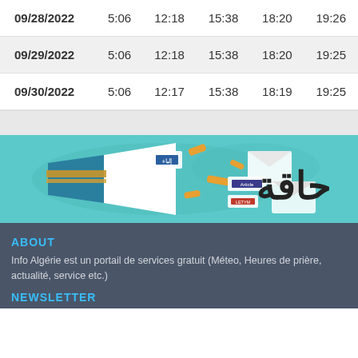| 09/28/2022 | 5:06 | 12:18 | 15:38 | 18:20 | 19:26 |
| 09/29/2022 | 5:06 | 12:18 | 15:38 | 18:20 | 19:25 |
| 09/30/2022 | 5:06 | 12:17 | 15:38 | 18:19 | 19:25 |
[Figure (illustration): Banner image showing a megaphone with Arabic text (حاقة) and colorful decorative elements on a teal background, with small logos/icons]
ABOUT
Info Algérie est un portail de services gratuit (Méteo, Heures de prière, actualité, service etc.)
NEWSLETTER